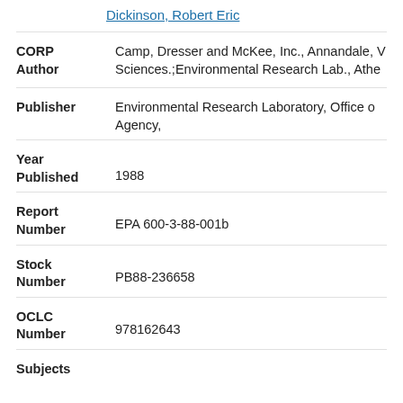Dickinson, Robert Eric
CORP Author: Camp, Dresser and McKee, Inc., Annandale, V; Sciences.;Environmental Research Lab., Athe
Publisher: Environmental Research Laboratory, Office o Agency,
Year Published: 1988
Report Number: EPA 600-3-88-001b
Stock Number: PB88-236658
OCLC Number: 978162643
Subjects: (links)